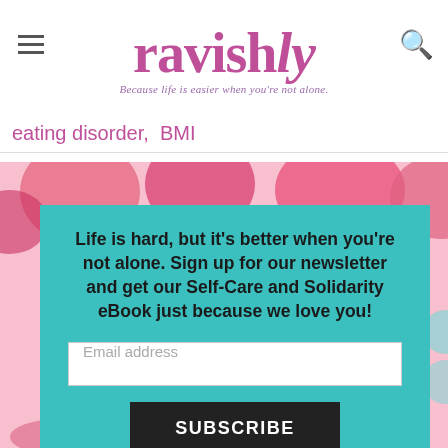ravishly — Because life is easier when you're not alone.
eating disorder,  BMI
[Figure (illustration): Colorful abstract background with pink and red blob shapes on white]
Life is hard, but it's better when you're not alone. Sign up for our newsletter and get our Self-Care and Solidarity eBook just because we love you!
Email address
SUBSCRIBE